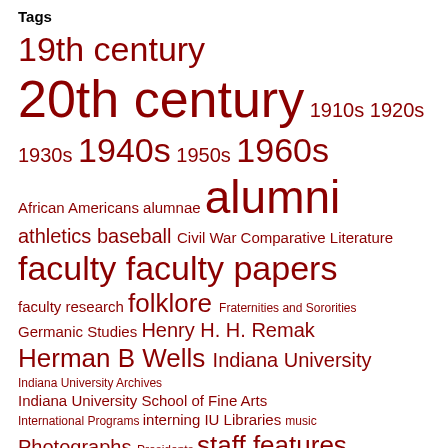Tags
19th century 20th century 1910s 1920s 1930s 1940s 1950s 1960s African Americans alumnae alumni athletics baseball Civil War Comparative Literature faculty faculty papers faculty research folklore Fraternities and Sororities Germanic Studies Henry H. H. Remak Herman B Wells Indiana University Indiana University Archives Indiana University School of Fine Arts International Programs interning IU Libraries music Photographs Presidents staff features Student Demonstrations Student groups student life student publications Students West European Studies Women Women's rights World War I World War II wwi wwii